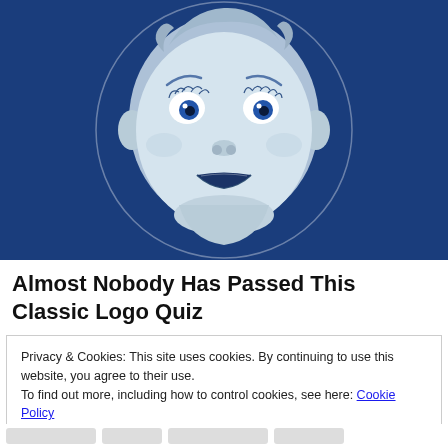[Figure (illustration): Blue background hero image showing the Gerber baby face illustration — a detailed line-art style baby face with wide eyes and open mouth, centered within a large circle outline, on a dark navy blue background.]
Almost Nobody Has Passed This Classic Logo Quiz
Privacy & Cookies: This site uses cookies. By continuing to use this website, you agree to their use.
To find out more, including how to control cookies, see here: Cookie Policy
Close and accept